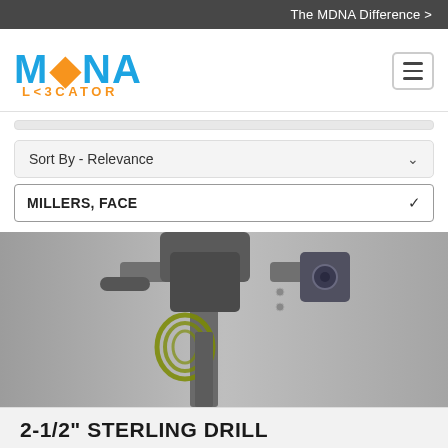The MDNA Difference >
[Figure (logo): MDNA Locator logo - MDNA in blue bold letters with orange diamond shape, LOCATOR in orange below]
Sort By - Relevance
MILLERS, FACE
[Figure (photo): Close-up photograph of a 2-1/2 inch Sterling drill machine, gray colored drill with cables/wiring visible, mounted equipment shown against white/grey background]
2-1/2" STERLING DRILL